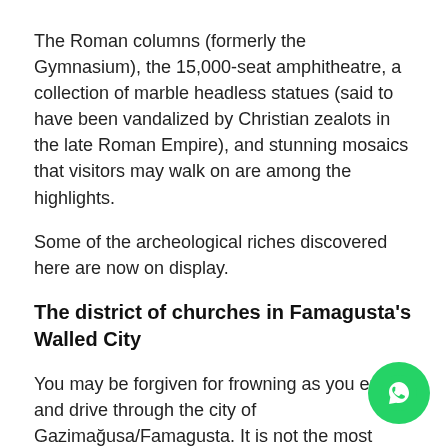The Roman columns (formerly the Gymnasium), the 15,000-seat amphitheatre, a collection of marble headless statues (said to have been vandalized by Christian zealots in the late Roman Empire), and stunning mosaics that visitors may walk on are among the highlights.
Some of the archeological riches discovered here are now on display.
The district of churches in Famagusta's Walled City
You may be forgiven for frowning as you enter and drive through the city of Gazimağusa/Famagusta. It is not the most appealing city. Continue driving, and you will come across the Walled City.
The defenses encircling Famagusta's old town, like most
[Figure (other): WhatsApp contact button (green circle with phone/chat icon)]